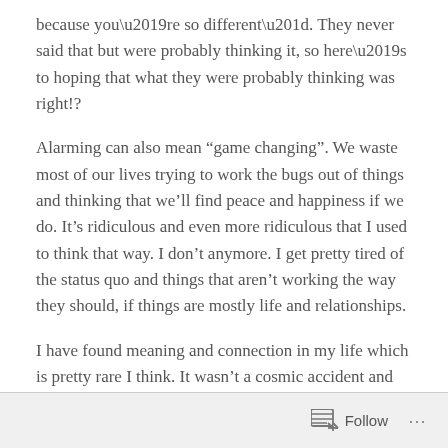because you’re so different”. They never said that but were probably thinking it, so here’s to hoping that what they were probably thinking was right!?
Alarming can also mean “game changing”. We waste most of our lives trying to work the bugs out of things and thinking that we’ll find peace and happiness if we do. It’s ridiculous and even more ridiculous that I used to think that way. I don’t anymore. I get pretty tired of the status quo and things that aren’t working the way they should, if things are mostly life and relationships.
I have found meaning and connection in my life which is pretty rare I think. It wasn’t a cosmic accident and my therapist says I’m not weird or (unusually) psychotic, but I